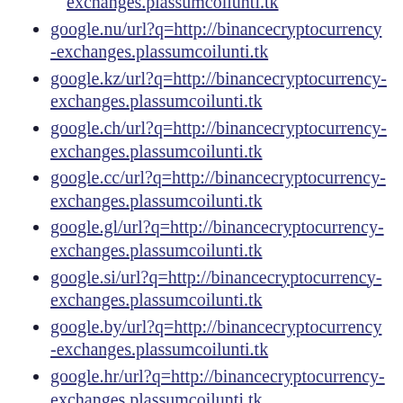exchanges.plassumcoilunti.tk (partial, top of page)
google.nu/url?q=http://binancecryptocurrency-exchanges.plassumcoilunti.tk
google.kz/url?q=http://binancecryptocurrency-exchanges.plassumcoilunti.tk
google.ch/url?q=http://binancecryptocurrency-exchanges.plassumcoilunti.tk
google.cc/url?q=http://binancecryptocurrency-exchanges.plassumcoilunti.tk
google.gl/url?q=http://binancecryptocurrency-exchanges.plassumcoilunti.tk
google.si/url?q=http://binancecryptocurrency-exchanges.plassumcoilunti.tk
google.by/url?q=http://binancecryptocurrency-exchanges.plassumcoilunti.tk
google.hr/url?q=http://binancecryptocurrency-exchanges.plassumcoilunti.tk
google.is/url?q=http://binancecryptocurrency-exchanges.plassumcoilunti.tk